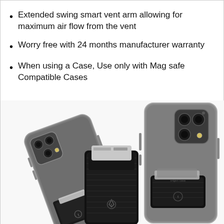Extended swing smart vent arm allowing for maximum air flow from the vent
Worry free with 24 months manufacturer warranty
When using a Case, Use only with Mag safe Compatible Cases
[Figure (photo): Two iPhone 12 Pro phones with black Spigen MagSafe card wallet attached to the back, one facing backward and one leaning forward showing the wallet with a card inserted and Spigen logo]